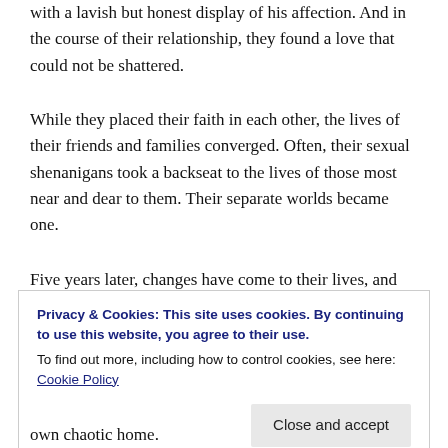with a lavish but honest display of his affection. And in the course of their relationship, they found a love that could not be shattered.
While they placed their faith in each other, the lives of their friends and families converged. Often, their sexual shenanigans took a backseat to the lives of those most near and dear to them. Their separate worlds became one.
Five years later, changes have come to their lives, and Drew and Maxine find themselves facing a life-altering decision that will impact their ordered
Privacy & Cookies: This site uses cookies. By continuing to use this website, you agree to their use.
To find out more, including how to control cookies, see here: Cookie Policy
own chaotic home.